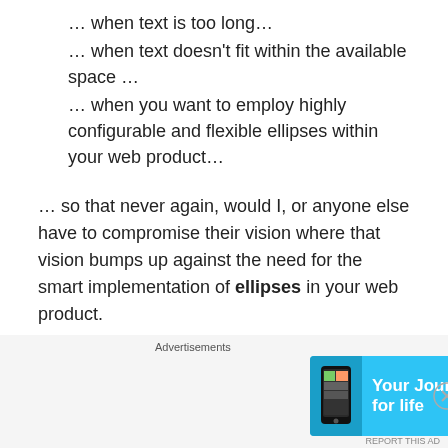… when text is too long…
… when text doesn't fit within the available space …
… when you want to employ highly configurable and flexible ellipses within your web product…
… so that never again, would I, or anyone else have to compromise their vision where that vision bumps up against the need for the smart implementation of ellipses in your web product.
Usage
ThreeDots is a customizable jQuery plugin for the smart
[Figure (other): Advertisement banner: 'Your Journal for life' DayOne app advertisement with cyan/blue background and phone image.]